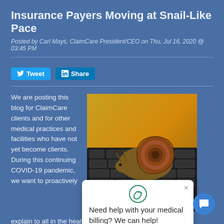Insurance Payers Moving at Snail-Like Pace
Posted by Carl Mays, ClaimCare President/CEO on Thu, Jul 16, 2020 @ 03:45 PM
[Figure (photo): A snail on a computer keyboard, illustrating the slow pace of insurance payers]
[Figure (other): Popup chat widget with ClaimCare logo and text: Need help with your medical billing? We can help!]
We are posting this blog for ClaimCare clients and for other medical practices and facilities who have not yet become clients. During this continuing COVID-19 pandemic, we want to proactively explain to all in the healthcare industry why your Account Receivables may be behaving differently than anyone would expect.
In a previous blog I shared how ClaimCare spent significant time, energy, and money putting in place a fully-tested, HIPAA-compliant work-from-home option